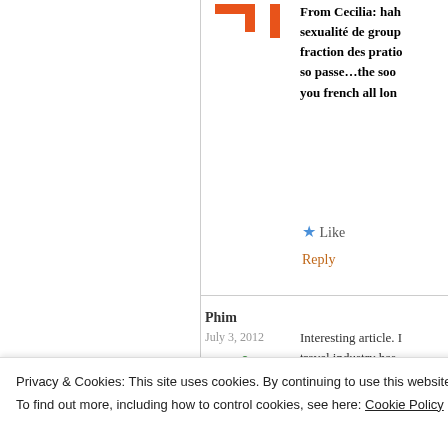[Figure (logo): Orange logo marks in top area - two orange bracket/flag shapes]
From Cecilia: hah sexualité de group fraction des pratio so passe…the soo you french all lon
★ Like
Reply
Phim
July 3, 2012
[Figure (illustration): Green decorative avatar icon for Phim - snowflake/star burst shape in green]
Interesting article. I travel industry has swine flu, and also Through everthing along with dynami
Privacy & Cookies: This site uses cookies. By continuing to use this website, you agree to their use.
To find out more, including how to control cookies, see here: Cookie Policy
Close and accept